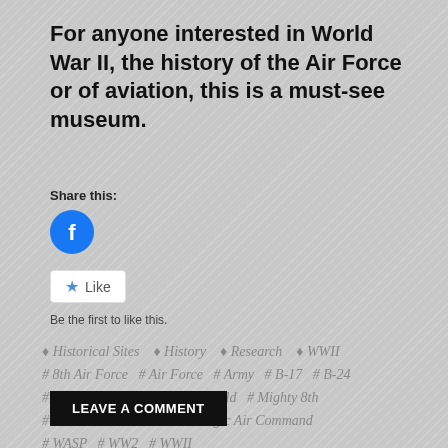For anyone interested in World War II, the history of the Air Force or of aviation, this is a must-see museum.
Share this:
[Figure (illustration): Facebook share button — circular blue icon with white Facebook 'f' logo]
[Figure (illustration): Like button with blue star icon and 'Like' text, white rounded rectangle button]
Be the first to like this.
♦ Historical Sites   ♦ History   ♦ Research   ♦ WWII
# 8th Air Force   # Air Force   # Army   # B-17   # B-24
# B-47   # History   # Hunter Field   # Mighty 8th
# POW   # Savannah   # Strategic Air Command
# WASP   # WW2   # WWII
LEAVE A COMMENT